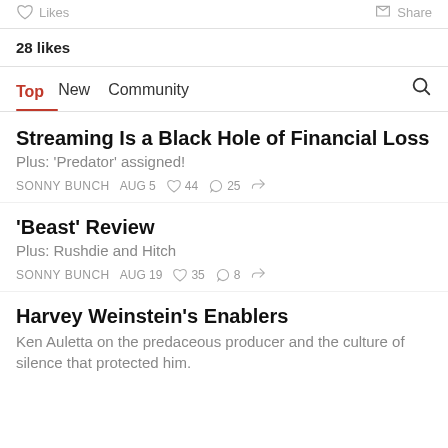Likes   Share
28 likes
Top   New   Community
Streaming Is a Black Hole of Financial Loss
Plus: 'Predator' assigned!
SONNY BUNCH   AUG 5   44   25
'Beast' Review
Plus: Rushdie and Hitch
SONNY BUNCH   AUG 19   35   8
Harvey Weinstein's Enablers
Ken Auletta on the predaceous producer and the culture of silence that protected him.